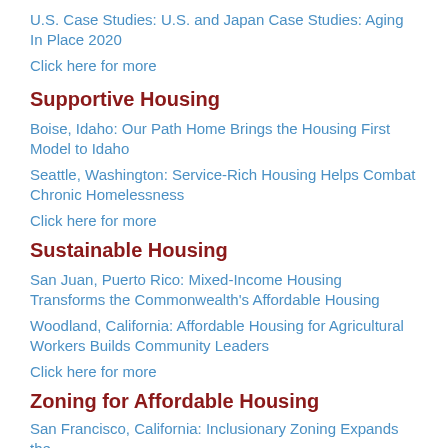U.S. Case Studies: U.S. and Japan Case Studies: Aging In Place 2020
Click here for more
Supportive Housing
Boise, Idaho: Our Path Home Brings the Housing First Model to Idaho
Seattle, Washington: Service-Rich Housing Helps Combat Chronic Homelessness
Click here for more
Sustainable Housing
San Juan, Puerto Rico: Mixed-Income Housing Transforms the Commonwealth's Affordable Housing
Woodland, California: Affordable Housing for Agricultural Workers Builds Community Leaders
Click here for more
Zoning for Affordable Housing
San Francisco, California: Inclusionary Zoning Expands the...